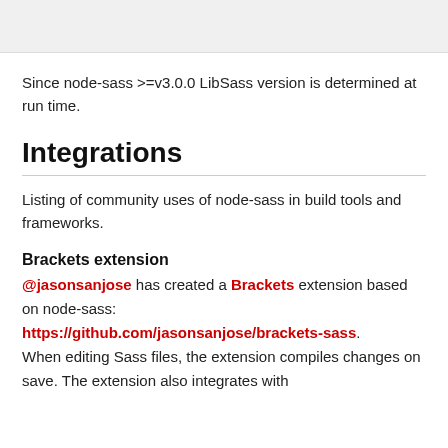[Figure (other): Top partial image, light gray background with partial graphic element visible]
Since node-sass >=v3.0.0 LibSass version is determined at run time.
Integrations
Listing of community uses of node-sass in build tools and frameworks.
Brackets extension
@jasonsanjose has created a Brackets extension based on node-sass: https://github.com/jasonsanjose/brackets-sass. When editing Sass files, the extension compiles changes on save. The extension also integrates with